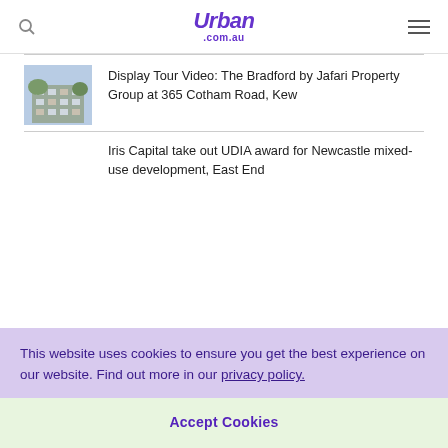Urban .com.au
[Figure (photo): Thumbnail photo of a multi-storey apartment building exterior]
Display Tour Video: The Bradford by Jafari Property Group at 365 Cotham Road, Kew
Iris Capital take out UDIA award for Newcastle mixed-use development, East End
This website uses cookies to ensure you get the best experience on our website. Find out more in our privacy policy.
Accept Cookies